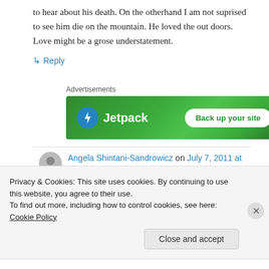to hear about his death. On the otherhand I am not suprised to see him die on the mountain. He loved the out doors. Love might be a grose understatement.
↳ Reply
Advertisements
[Figure (other): Jetpack advertisement banner with green background, Jetpack logo on the left and 'Back up your site' button on the right]
Angela Shintani-Sandrowicz on July 7, 2011 at 4:34
Privacy & Cookies: This site uses cookies. By continuing to use this website, you agree to their use.
To find out more, including how to control cookies, see here: Cookie Policy
Close and accept